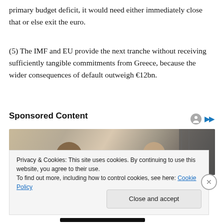primary budget deficit, it would need either immediately close that or else exit the euro.
(5) The IMF and EU provide the next tranche without receiving sufficiently tangible commitments from Greece, because the wider consequences of default outweigh €12bn.
Sponsored Content
[Figure (photo): Sponsored content advertisement image showing two people]
Privacy & Cookies: This site uses cookies. By continuing to use this website, you agree to their use.
To find out more, including how to control cookies, see here: Cookie Policy